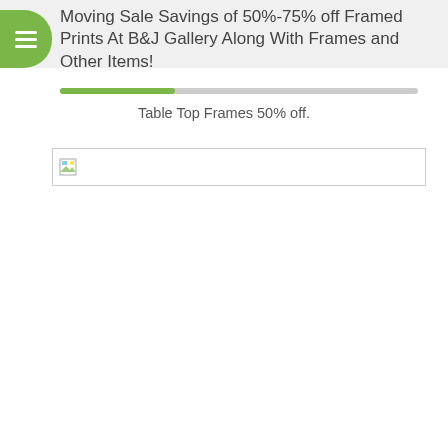Moving Sale Savings of 50%-75% off Framed Prints At B&J Gallery Along With Frames and Other Items!
Table Top Frames 50% off.
[Figure (photo): Broken image placeholder with small image icon and empty image area]